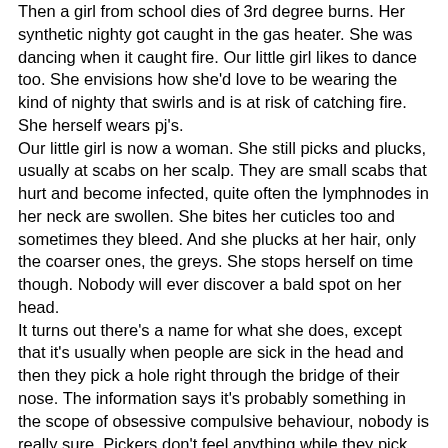Then a girl from school dies of 3rd degree burns. Her synthetic nighty got caught in the gas heater. She was dancing when it caught fire. Our little girl likes to dance too. She envisions how she'd love to be wearing the kind of nighty that swirls and is at risk of catching fire. She herself wears pj's.
Our little girl is now a woman. She still picks and plucks, usually at scabs on her scalp. They are small scabs that hurt and become infected, quite often the lymphnodes in her neck are swollen. She bites her cuticles too and sometimes they bleed. And she plucks at her hair, only the coarser ones, the greys. She stops herself on time though. Nobody will ever discover a bald spot on her head.
It turns out there's a name for what she does, except that it's usually when people are sick in the head and then they pick a hole right through the bridge of their nose. The information says it's probably something in the scope of obsessive compulsive behaviour, nobody is really sure. Pickers don't feel anything while they pick, says the website. The picking releases stress. The physical pain hides emotional pain. It often starts as a reaction to trauma. Anti-depressant drugs help, of course.
She briefly wonders what trauma she might have had. The trauma of not having caught fire? She shrugs her shoulders. She's doing perfectly fine. As long as nobody